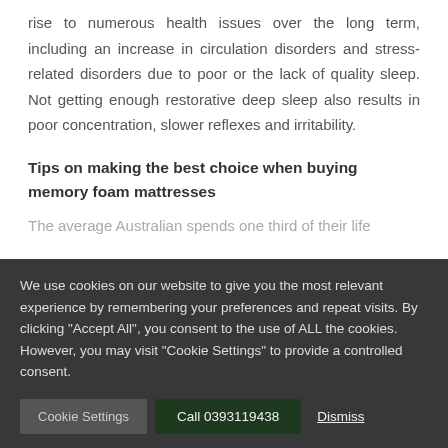rise to numerous health issues over the long term, including an increase in circulation disorders and stress-related disorders due to poor or the lack of quality sleep. Not getting enough restorative deep sleep also results in poor concentration, slower reflexes and irritability.
Tips on making the best choice when buying memory foam mattresses
The average Australian spends one third of their life...
We use cookies on our website to give you the most relevant experience by remembering your preferences and repeat visits. By clicking "Accept All", you consent to the use of ALL the cookies. However, you may visit "Cookie Settings" to provide a controlled consent.